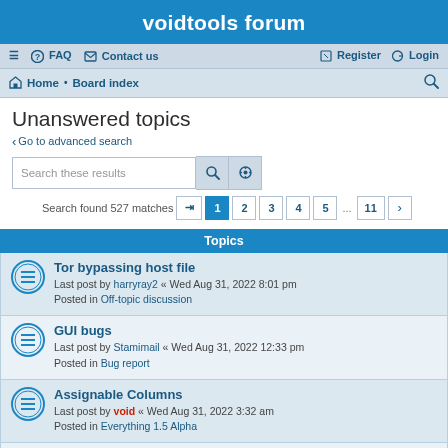voidtools forum
≡  FAQ  Contact us    Register  Login
Home · Board index
Unanswered topics
< Go to advanced search
Search these results
Search found 527 matches  1 2 3 4 5 ... 11 >
Topics
Tor bypassing host file
Last post by harryray2 « Wed Aug 31, 2022 8:01 pm
Posted in Off-topic discussion
GUI bugs
Last post by Stamimail « Wed Aug 31, 2022 12:33 pm
Posted in Bug report
Assignable Columns
Last post by void « Wed Aug 31, 2022 3:32 am
Posted in Everything 1.5 Alpha
Everything Group Policy